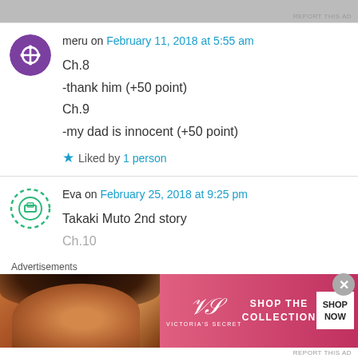[Figure (other): Top banner advertisement (partially visible, gray/dark background)]
REPORT THIS AD
meru on February 11, 2018 at 5:55 am
Ch.8
-thank him (+50 point)
Ch.9
-my dad is innocent (+50 point)
★ Liked by 1 person
Eva on February 25, 2018 at 9:25 pm
Takaki Muto 2nd story
Ch.10
Advertisements
[Figure (photo): Victoria's Secret advertisement banner with model and 'SHOP THE COLLECTION SHOP NOW' text]
REPORT THIS AD